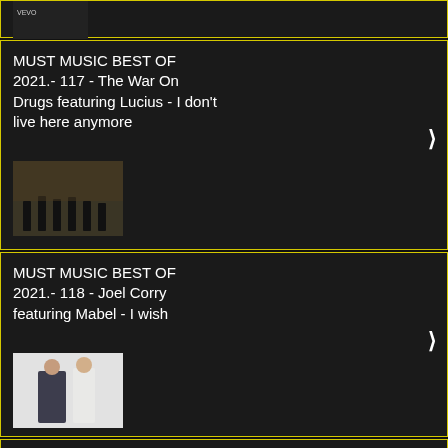[Figure (screenshot): Partial top card showing a video thumbnail (dark, with VEVO watermark)]
MUST MUSIC BEST OF 2021.- 117 - The War On Drugs featuring Lucius - I don't live here anymore
[Figure (screenshot): Thumbnail for The War On Drugs featuring Lucius - I don't live here anymore music video]
MUST MUSIC BEST OF 2021.- 118 - Joel Corry featuring Mabel - I wish
[Figure (screenshot): Thumbnail for Joel Corry featuring Mabel - I wish music video]
MUST MUSIC BEST OF 2021.- 119 - Gracie Abrams - Ti...